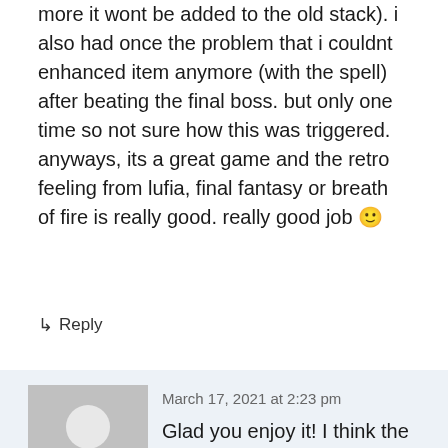more it wont be added to the old stack). i also had once the problem that i couldnt enhanced item anymore (with the spell) after beating the final boss. but only one time so not sure how this was triggered.

anyways, its a great game and the retro feeling from lufia, final fantasy or breath of fire is really good. really good job 🙂
↳ Reply
March 17, 2021 at 2:23 pm
Glad you enjoy it! I think the potions work